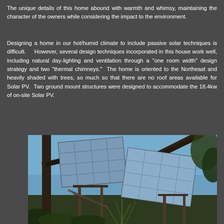The unique details of this home abound with warmth and whimsy, maintaining the character of the owners while considering the impact to the environment.
Designing a home in our hot/humid climate to include passive solar techniques is difficult.  However, several design techniques incorporated in this house work well, including natural day-lighting and ventilation through a "one room width" design strategy and two "thermal chimneys."  The home is oriented to the Northeast and heavily shaded with trees, so much so that there are no roof areas available for Solar PV.  Two ground mount structures were designed to accommodate the 18.4kw of on-site Solar PV.
[Figure (photo): Photograph of ground-mounted solar PV panels surrounded by trees against a blue sky, with wooden support structures visible.]